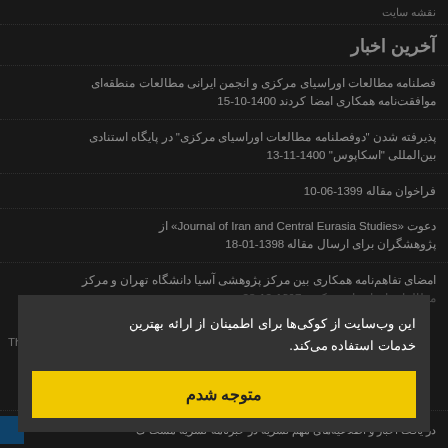نقشه سایت
آخرین اخبار
فصلنامه مطالعات اوراسیای مرکزی و انجمن ایرانی مطالعات منطقه‌ای موافقت‌نامه همکاری امضا کردند 1400-10-15
پذیرفته شدن "دوفصلنامه مطالعات اوراسیای مرکزی" در پایگاه استنادی بین‌المللی "اسکاپوس" 1400-11-13
فراخوان مقاله 1399-06-10
دعوت «Journal of Iran and Central Eurasia Studies» از پژوهشگران برای ارسال مقاله 1398-01-18
امضای تفاهم‌نامه همکاری بین مرکز پژوهشی آسیا دانشگاه تهران و مرکز مطالعات اوراسیای مرکزی 1397-12-28
این وب‌سایت از کوکی‌ها برای اطمینان از ارائه بهترین خدمات استفاده می‌کند.
متوجه شدم
This work is li
در یافت اخبار و اطلاعیه‌های مهم نشریه در خبرنامه نشریه مشت ک